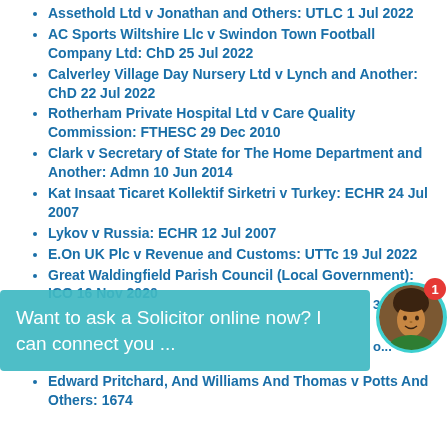Assethold Ltd v Jonathan and Others: UTLC 1 Jul 2022
AC Sports Wiltshire Llc v Swindon Town Football Company Ltd: ChD 25 Jul 2022
Calverley Village Day Nursery Ltd v Lynch and Another: ChD 22 Jul 2022
Rotherham Private Hospital Ltd v Care Quality Commission: FTHESC 29 Dec 2010
Clark v Secretary of State for The Home Department and Another: Admn 10 Jun 2014
Kat Insaat Ticaret Kollektif Sirketri v Turkey: ECHR 24 Jul 2007
Lykov v Russia: ECHR 12 Jul 2007
E.On UK Plc v Revenue and Customs: UTTc 19 Jul 2022
Great Waldingfield Parish Council (Local Government): ICO 16 Nov 2020
[Figure (screenshot): Chat overlay banner: 'Want to ask a Solicitor online now? I can connect you ...' with avatar photo and notification badge showing 1]
Edward Pritchard, And Williams And Thomas v Potts And Others: 1674